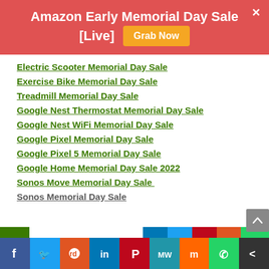Amazon Early Memorial Day Sale [Live] Grab Now
Electric Scooter Memorial Day Sale
Exercise Bike Memorial Day Sale
Treadmill Memorial Day Sale
Google Nest Thermostat Memorial Day Sale
Google Nest WiFi Memorial Day Sale
Google Pixel Memorial Day Sale
Google Pixel 5 Memorial Day Sale
Google Home Memorial Day Sale 2022
Sonos Move Memorial Day Sale
Sonos Memorial Day Sale
Social sharing bar: Facebook, Twitter, Reddit, LinkedIn, Pinterest, MeWe, Mix, WhatsApp, More